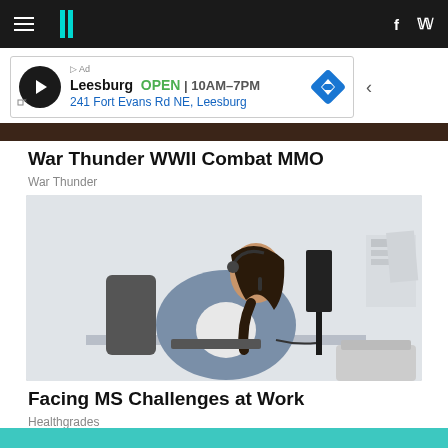HuffPost navigation bar with hamburger menu, logo, Facebook and Twitter icons
[Figure (infographic): Advertisement banner for Leesburg store: OPEN 10AM-7PM, 241 Fort Evans Rd NE, Leesburg]
War Thunder WWII Combat MMO
War Thunder
[Figure (photo): Woman wearing headset sitting at a desk working at a computer in an office environment]
Facing MS Challenges at Work
Healthgrades